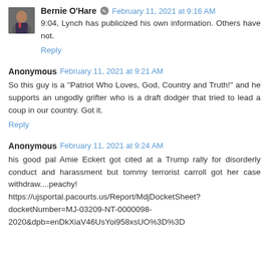Bernie O'Hare  February 11, 2021 at 9:16 AM
9:04, Lynch has publicized his own information. Others have not.
Reply
Anonymous  February 11, 2021 at 9:21 AM
So this guy is a "Patriot Who Loves, God, Country and Truth!" and he supports an ungodly grifter who is a draft dodger that tried to lead a coup in our country. Got it.
Reply
Anonymous  February 11, 2021 at 9:24 AM
his good pal Amie Eckert got cited at a Trump rally for disorderly conduct and harassment but tommy terrorist carroll got her case withdraw....peachy! https://ujsportal.pacourts.us/Report/MdjDocketSheet?docketNumber=MJ-03209-NT-0000098-2020&dpb=enDkXiaV46UsYoi958xsUO%3D%3D